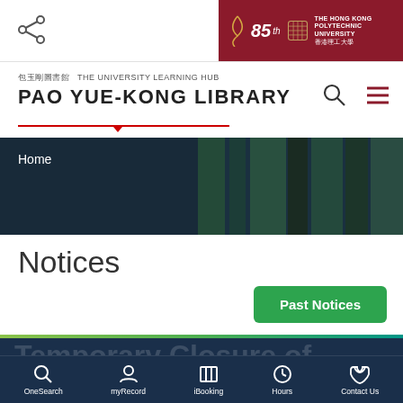[Figure (screenshot): Share icon (three circles connected) at top left of page header]
[Figure (logo): The Hong Kong Polytechnic University 85th anniversary banner in dark red, with PolyU knot logo and university name in English and Chinese]
包玉剛圖書館 THE UNIVERSITY LEARNING HUB
PAO YUE-KONG LIBRARY
[Figure (photo): Hero banner with dark blurred library shelves background, text 'Home' in white]
Notices
Past Notices
Temporary Closure of
OneSearch   myRecord   iBooking   Hours   Contact Us